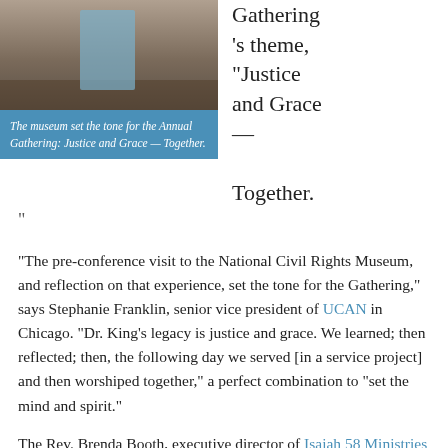[Figure (photo): Photo of a person at a museum exhibit, possibly the National Civil Rights Museum, with a wooden display case visible.]
The museum set the tone for the Annual Gathering: Justice and Grace — Together.
Gathering
's theme, “Justice and Grace — Together.”
“The pre-conference visit to the National Civil Rights Museum, and reflection on that experience, set the tone for the Gathering,” says Stephanie Franklin, senior vice president of UCAN in Chicago. “Dr. King’s legacy is justice and grace. We learned; then reflected; then, the following day we served [in a service project] and then worshiped together,” a perfect combination to “set the mind and spirit.”
The Rev. Brenda Booth, executive director of Isaiah 58 Ministries in St. Louis, agrees. “I was so grateful for the opportunity to reflect on the experience as a